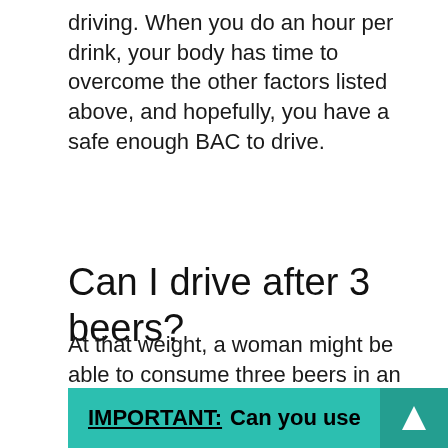driving. When you do an hour per drink, your body has time to overcome the other factors listed above, and hopefully, you have a safe enough BAC to drive.
Can I drive after 3 beers?
At that weight, a woman might be able to consume three beers in an hour and not become legally intoxicated. Two beers in an hour for a 150 pound male is estimated to give him a blood alcohol content of . ... According to the NHTSA calculator, he can legally consume a third beer and still drive under the . 08 legal limit.
IMPORTANT: Can you use